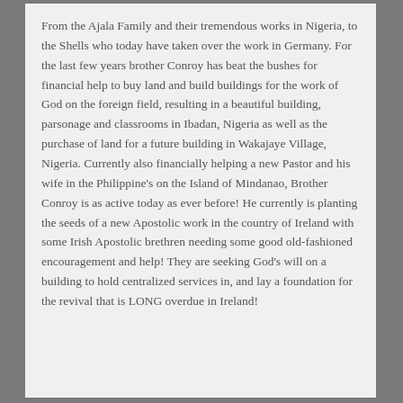From the Ajala Family and their tremendous works in Nigeria, to the Shells who today have taken over the work in Germany. For the last few years brother Conroy has beat the bushes for financial help to buy land and build buildings for the work of God on the foreign field, resulting in a beautiful building, parsonage and classrooms in Ibadan, Nigeria as well as the purchase of land for a future building in Wakajaye Village, Nigeria. Currently also financially helping a new Pastor and his wife in the Philippine's on the Island of Mindanao, Brother Conroy is as active today as ever before! He currently is planting the seeds of a new Apostolic work in the country of Ireland with some Irish Apostolic brethren needing some good old-fashioned encouragement and help! They are seeking God's will on a building to hold centralized services in, and lay a foundation for the revival that is LONG overdue in Ireland!